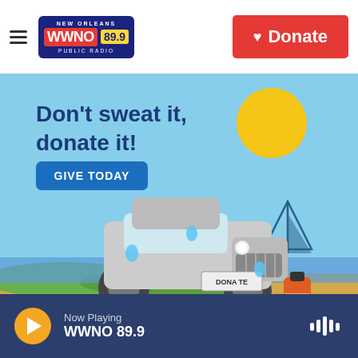WWNO 89.9 — NEW ORLEANS PUBLIC RADIO — Donate
[Figure (illustration): Promotional banner ad for WWNO/NPR donation campaign. Light blue sky background with sandy ground. Text reads 'Don't sweat it, donate it!' with a blue 'GIVE TODAY' button. A sweating white SUV/Jeep with license plate reading 'DONATE' is depicted. A yellow sun, sailboat, and hot sauce bottle are visible. '50 ANNIVERSARY' logo and NPR logo appear at bottom left.]
Now Playing WWNO 89.9